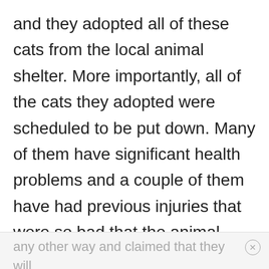and they adopted all of these cats from the local animal shelter. More importantly, all of the cats they adopted were scheduled to be put down. Many of them have significant health problems and a couple of them have had previous injuries that were so bad that the animal shelter considered euthanasia the only option. They were all nursed back to health and they are currently all living healthy, happy lives with people that truly love them. The couple can't imagine life
any other way and claimed that they will always be there to rescue more...